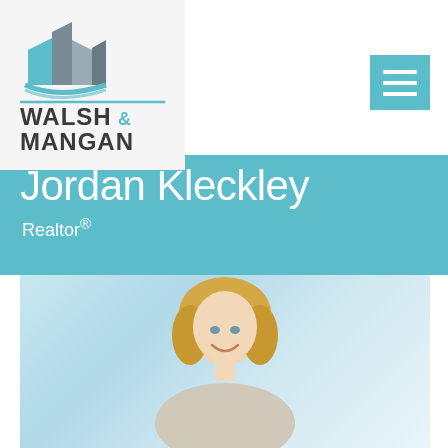[Figure (logo): Walsh & Mangan real estate logo with stylized building/book icon in teal and gray, text WALSH & MANGAN in dark gray]
[Figure (other): Hamburger/navigation menu icon — three white horizontal lines on teal square background]
Jordan Kleckley
Realtor®
[Figure (photo): Professional headshot photo of a smiling blonde woman, Jordan Kleckley, on a light blue/white background]